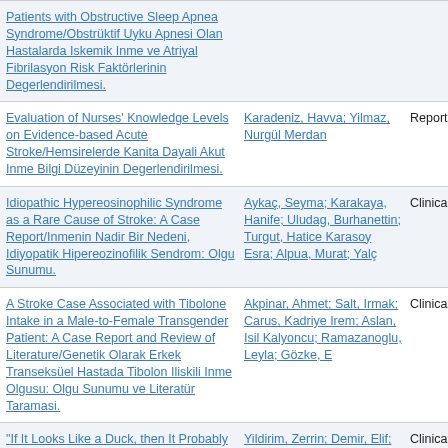| Title | Authors | Type |
| --- | --- | --- |
| Patients with Obstructive Sleep Apnea Syndrome/Obstrüktif Uyku Apnesi Olan Hastalarda Iskemik Inme ve Atriyal Fibrilasyon Risk Faktörlerinin Degerlendirilmesi. |  |  |
| Evaluation of Nurses' Knowledge Levels on Evidence-based Acute Stroke/Hemsirelerde Kanita Dayali Akut Inme Bilgi Düzeyinin Degerlendirilmesi. | Karadeniz, Havva; Yilmaz, Nurgül Merdan | Report |
| Idiopathic Hypereosinophilic Syndrome as a Rare Cause of Stroke: A Case Report/Inmenin Nadir Bir Nedeni, Idiyopatik Hipereozinofilik Sendrom: Olgu Sunumu. | Aykaç, Seyma; Karakaya, Hanife; Uludag, Burhanettin; Turgut, Hatice Karasoy Esra; Alpua, Murat; Yalç | Clinical |
| A Stroke Case Associated with Tibolone Intake in a Male-to-Female Transgender Patient: A Case Report and Review of Literature/Genetik Olarak Erkek Transeksüel Hastada Tibolon Iliskili Inme Olgusu: Olgu Sunumu ve Literatür Taramasi. | Akpinar, Ahmet; Salt, Irmak; Carus, Kadriye Irem; Aslan, Isil Kalyoncu; Ramazanoglu, Leyla; Gözke, E | Clinical |
| "If It Looks Like a Duck, then It Probably is a Duck!" No, Rarely It is not/"Eger Ördek Gibi | Yildirim, Zerrin; Demir, Elif; Kale, Nilüfer | Clinical |